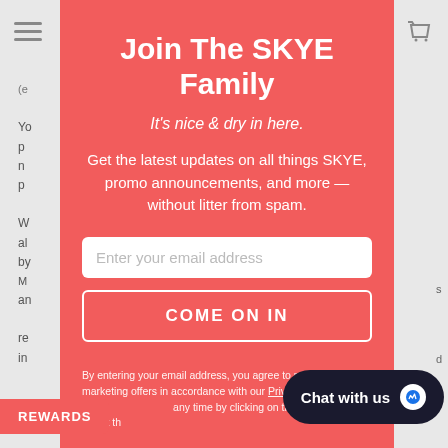Join The SKYE Family
It's nice & dry in here.
Get the latest updates on all things SKYE, promo announcements, and more — without litter from spam.
Enter your email address
COME ON IN
By entering your email address, you agree to receive our marketing offers in accordance with our Privacy Policy. You can unsubscribe at any time by clicking on the unsubscribe link at the bottom of our emails.
REWARDS
Chat with us